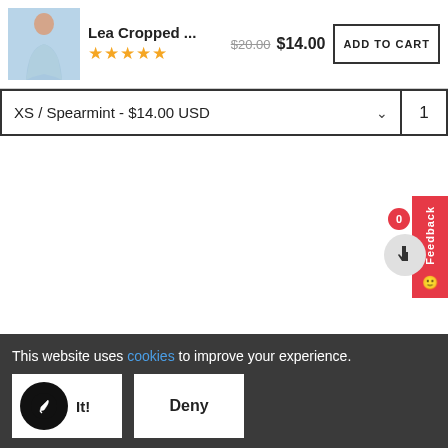[Figure (screenshot): Product listing UI with image of woman in blue cropped top, product title 'Lea Cropped ...', star rating, original price $20.00 struck through, sale price $14.00, and ADD TO CART button]
| XS / Spearmint - $14.00 USD | ˅ | 1 |
[Figure (screenshot): Feedback tab (red vertical tab on right edge) with badge showing 0, cart icon circle, and cursor icon]
This website uses cookies to improve your experience.
[Figure (screenshot): Cookie consent bar with accept button (black circle with feather icon) and Deny button]